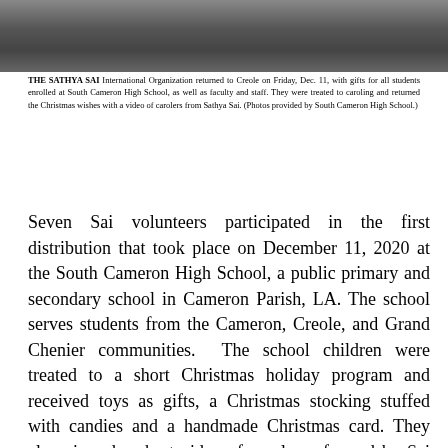[Figure (photo): Photograph showing people at South Cameron High School during the gift distribution event, with figures visible near tables with items.]
THE SATHYA SAI International Organization returned to Creole on Friday, Dec. 11, with gifts for all students enrolled at South Cameron High School, as well as faculty and staff. They were treated to caroling and returned the Christmas wishes with a video of carolers from Sathya Sai. (Photos provided by South Cameron High School.)
Seven Sai volunteers participated in the first distribution that took place on December 11, 2020 at the South Cameron High School, a public primary and secondary school in Cameron Parish, LA. The school serves students from the Cameron, Creole, and Grand Chenier communities. The school children were treated to a short Christmas holiday program and received toys as gifts, a Christmas stocking stuffed with candies and a handmade Christmas card. They also viewed a short video of carols performed by Sai Spiritual Education (SSE) children from the Sri Sathya Sai Center of South Houston, and Christmas wishes sent by SSSIO members. Staff members at the school each received a gift package consisting of a blanket, a mug, an ornament and a box of cookies. The visit to Cameron was coordinated with the Lions Club of Cameron. The President of the Lions Club expressed her gratitude for the generous gifts for the students and the staff, from the SSSIO members from all